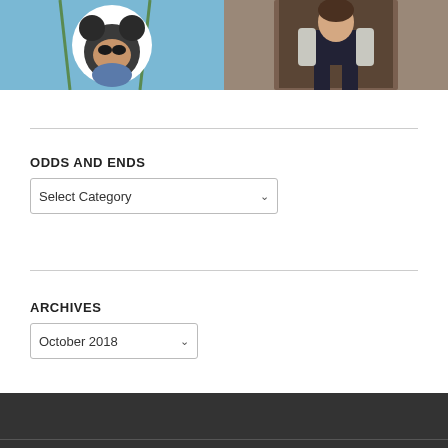[Figure (photo): Two photos side by side: left is a circular-framed photo of Mickey Mouse character against blue sky with palm trees; right is a photo of a person in dark top and light jacket standing in a doorway]
ODDS AND ENDS
Select Category (dropdown)
ARCHIVES
October 2018 (dropdown)